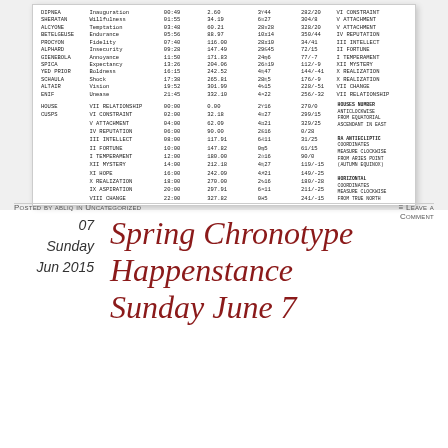[Figure (table-as-image): Astrological table showing fixed stars (SHERATAN, ALCYONE, BETELGEUSE, PROCYON, ALPHARD, GIENEBOLA, SPICA, YED PRIOR, SCHAULA, ALTAIR, ENIF) with columns for quality, time, degree, sign position, and house. Second section shows HOUSE CUSPS with house names (VII RELATIONSHIP through VIII CHANGE) with time, degree, sign, and notes. Bottom notes mention BETELGEUSE, NAKSHATRA, and LEO RISING.]
07
Sunday
Jun 2015
Spring Chronotype Happenstance Sunday June 7
Posted by abliq in Uncategorized
≡ Leave a Comment